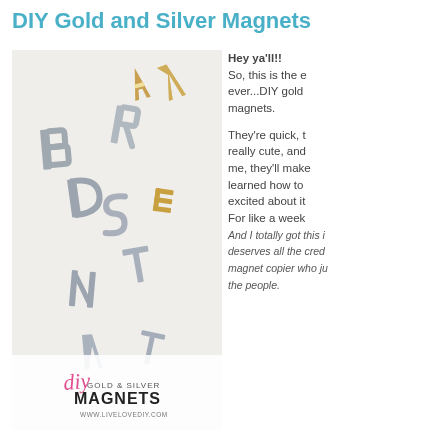DIY Gold and Silver Magnets
[Figure (photo): Photo of gold and silver metallic letter magnets scattered on a white surface, with a DIY Gold & Silver Magnets logo at bottom left with www.livelovediy.com]
Hey ya'll!! So, this is the e ever...DIY gold magnets. They're quick, t really cute, and me, they'll make learned how to excited about it For like a week And I totally got this i deserves all the cred magnet copier who ju the people.